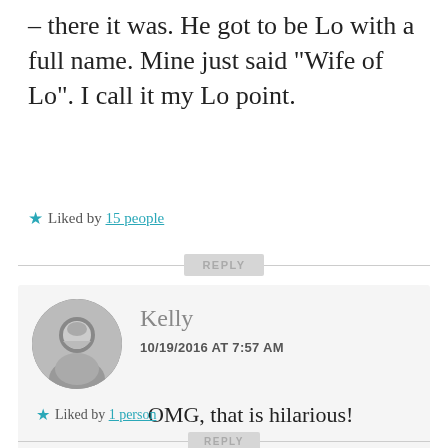– there it was. He got to be Lo with a full name. Mine just said “Wife of Lo”. I call it my Lo point.
★ Liked by 15 people
REPLY
Kelly
10/19/2016 AT 7:57 AM
OMG, that is hilarious!
★ Liked by 1 person
REPLY